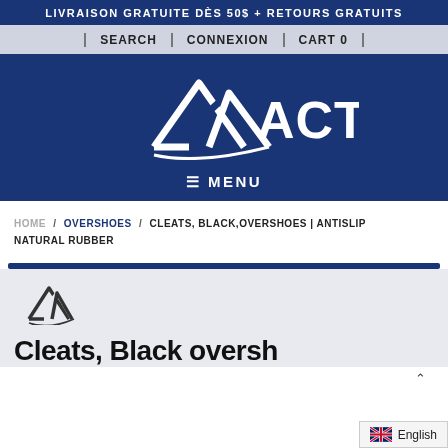LIVRAISON GRATUITE DÈS 50$ + RETOURS GRATUITS
| SEARCH | CONNEXION | CART 0 |
[Figure (logo): ACTON brand logo with mountain peak icon, white on dark blue background]
≡ MENU
HOME / OVERSHOES / CLEATS, BLACK,OVERSHOES | ANTISLIP NATURAL RUBBER
[Figure (logo): Small ACTON mountain peak logo, dark on light grey background]
Cleats, Black oversh